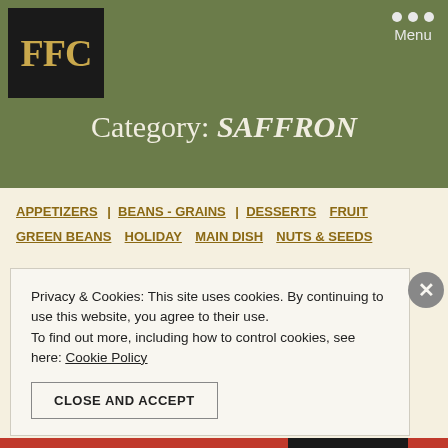FFC logo and Menu navigation
Category: SAFFRON
APPETIZERS  BEANS - GRAINS  DESSERTS  FRUIT
GREEN BEANS  HOLIDAY  MAIN DISH  NUTS & SEEDS
Privacy & Cookies: This site uses cookies. By continuing to use this website, you agree to their use.
To find out more, including how to control cookies, see here: Cookie Policy
CLOSE AND ACCEPT